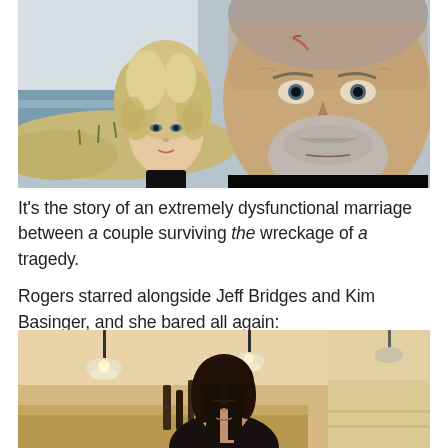[Figure (photo): A woman with curly blonde hair and a man with grey beard and a scar on his forehead, standing near a beach with ocean waves in the background.]
It's the story of an extremely dysfunctional marriage between a couple surviving the wreckage of a tragedy.
Rogers starred alongside Jeff Bridges and Kim Basinger, and she bared all again:
[Figure (photo): A woman with dark hair standing indoors under pendant lamps in what appears to be a kitchen or living area with warm lighting.]